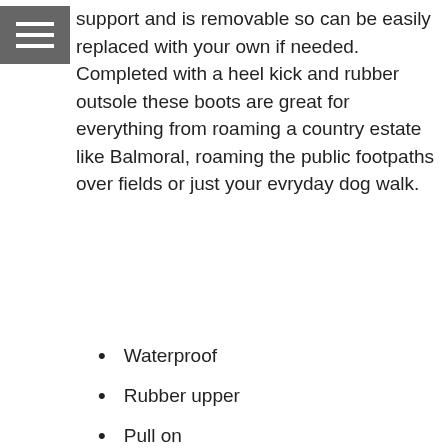support and is removable so can be easily replaced with your own if needed. Completed with a heel kick and rubber outsole these boots are great for everything from roaming a country estate like Balmoral, roaming the public footpaths over fields or just your evryday dog walk.
Waterproof
Rubber upper
Pull on
Side gusset
Neoprene lining
Removable cushioned footbed
Rubber outsole
Boot height approximately - 36cm